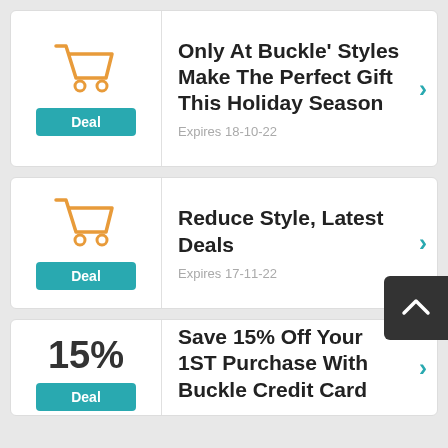Only At Buckle' Styles Make The Perfect Gift This Holiday Season
Expires 18-10-22
Reduce Style, Latest Deals
Expires 17-11-22
Save 15% Off Your 1ST Purchase With Buckle Credit Card